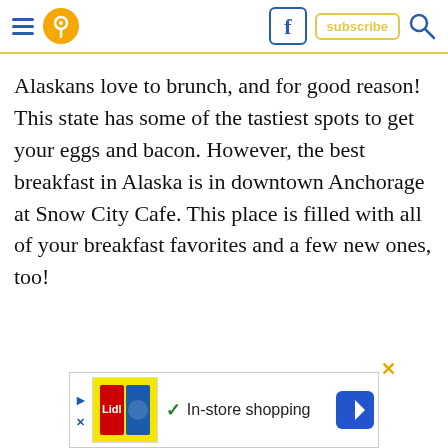Navigation header with hamburger menu, location pin icon, Facebook button, subscribe button, search icon
Alaskans love to brunch, and for good reason! This state has some of the tastiest spots to get your eggs and bacon. However, the best breakfast in Alaska is in downtown Anchorage at Snow City Cafe. This place is filled with all of your breakfast favorites and a few new ones, too!
[Figure (other): Advertisement banner for Lidl in-store shopping]